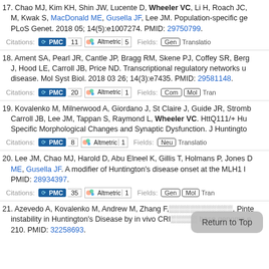17. Chao MJ, Kim KH, Shin JW, Lucente D, Wheeler VC, Li H, Roach JC, Ou M, Kwak S, MacDonald ME, Gusella JF, Lee JM. Population-specific ge... PLoS Genet. 2018 05; 14(5):e1007274. PMID: 29750799.
Citations: PMC 11 | Altmetric 5 | Fields: Gen | Translatio...
18. Ament SA, Pearl JR, Cantle JP, Bragg RM, Skene PJ, Coffey SR, Berg... J, Hood LE, Carroll JB, Price ND. Transcriptional regulatory networks u... disease. Mol Syst Biol. 2018 03 26; 14(3):e7435. PMID: 29581148.
Citations: PMC 20 | Altmetric 1 | Fields: Com | Mol | Tran...
19. Kovalenko M, Milnerwood A, Giordano J, St Claire J, Guide JR, Stromb... Carroll JB, Lee JM, Tappan S, Raymond L, Wheeler VC. HttQ111/+ Hu... Specific Morphological Changes and Synaptic Dysfunction. J Huntingto...
Citations: PMC 8 | Altmetric 1 | Fields: Neu | Translatio...
20. Lee JM, Chao MJ, Harold D, Abu Elneel K, Gillis T, Holmans P, Jones D... ME, Gusella JF. A modifier of Huntington's disease onset at the MLH1 l... PMID: 28934397.
Citations: PMC 35 | Altmetric 1 | Fields: Gen | Mol | Tran...
21. Azevedo A, Kovalenko M, Andrew M, Zhang F,... Pinte... instability in Huntington's Disease by in vivo CRISPR... base genome e... 210. PMID: 32258693.
[Figure (other): Return to Top button overlay]